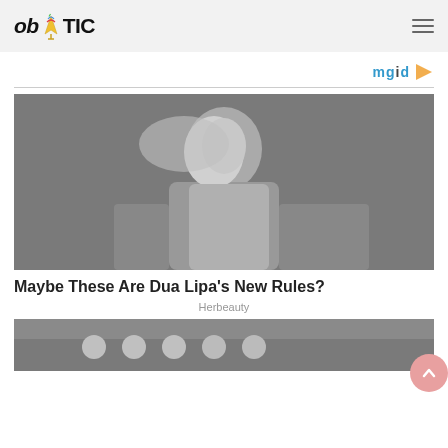ob Y TIC
[Figure (logo): mgid logo with play icon triangle]
[Figure (photo): Black and white photo of Dua Lipa with blonde hair wearing a light-colored sports bra, arms extended wide]
Maybe These Are Dua Lipa's New Rules?
Herbeauty
[Figure (photo): Bottom partial image showing a street scene with people in white helmets]